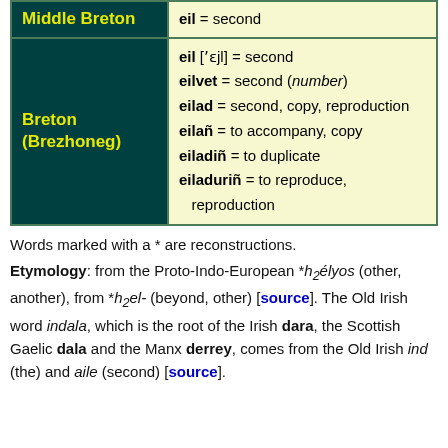| Language | Words/Definitions |
| --- | --- |
| Middle Breton | eil = second |
| Breton (Brezhoneg) | eil ['ɛjl] = second
eilvet = second (number)
eilad = second, copy, reproduction
eilañ = to accompany, copy
eiladiñ = to duplicate
eiladuriñ = to reproduce, reproduction |
Words marked with a * are reconstructions.
Etymology: from the Proto-Indo-European *h₂élyos (other, another), from *h₂el- (beyond, other) [source]. The Old Irish word indala, which is the root of the Irish dara, the Scottish Gaelic dala and the Manx derrey, comes from the Old Irish ind (the) and aile (second) [source].